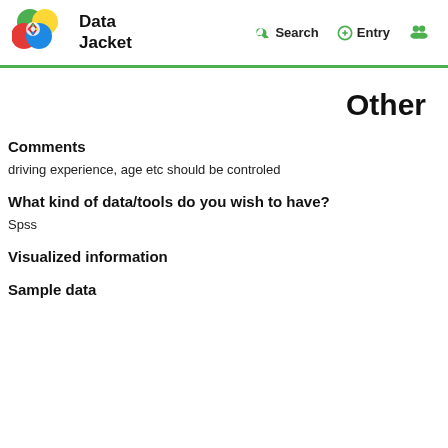Data Jacket | Search | Entry
Other
Comments
driving experience, age etc should be controled
What kind of data/tools do you wish to have?
Spss
Visualized information
Sample data